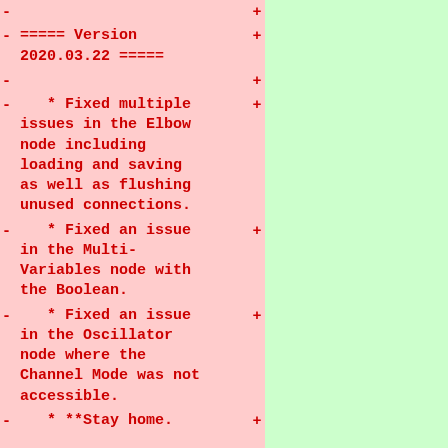- [truncated top]
-                                    +
-===== Version 2020.03.22 =====      +
-                                    +
-    * Fixed multiple issues in the Elbow node including loading and saving as well as flushing unused connections.    +
-    * Fixed an issue in the Multi-Variables node with the Boolean.    +
-    * Fixed an issue in the Oscillator node where the Channel Mode was not accessible.    +
-    * **Stay home.    +